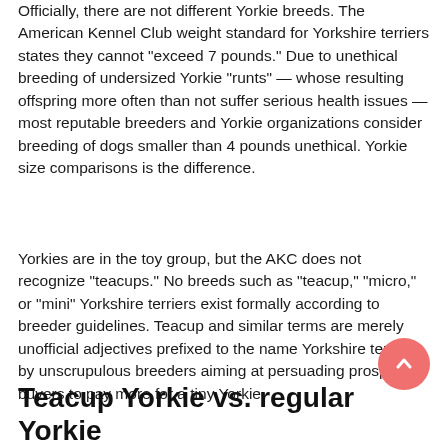Officially, there are not different Yorkie breeds. The American Kennel Club weight standard for Yorkshire terriers states they cannot "exceed 7 pounds." Due to unethical breeding of undersized Yorkie "runts" — whose resulting offspring more often than not suffer serious health issues — most reputable breeders and Yorkie organizations consider breeding of dogs smaller than 4 pounds unethical. Yorkie size comparisons is the difference.
Yorkies are in the toy group, but the AKC does not recognize "teacups." No breeds such as "teacup," "micro," or "mini" Yorkshire terriers exist formally according to breeder guidelines. Teacup and similar terms are merely unofficial adjectives prefixed to the name Yorkshire terrier by unscrupulous breeders aiming at persuading prospective buyers to pay more for a tiny Yorkie.
Teacup Yorkie vs. regular Yorkie